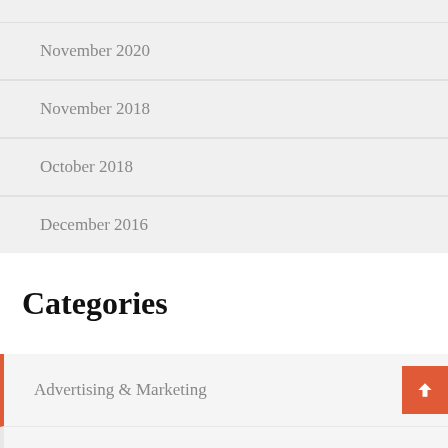November 2020
November 2018
October 2018
December 2016
Categories
Advertising & Marketing